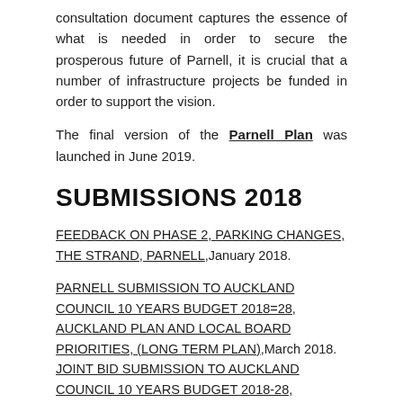consultation document captures the essence of what is needed in order to secure the prosperous future of Parnell, it is crucial that a number of infrastructure projects be funded in order to support the vision.
The final version of the Parnell Plan was launched in June 2019.
SUBMISSIONS 2018
FEEDBACK ON PHASE 2, PARKING CHANGES, THE STRAND, PARNELL, January 2018.
PARNELL SUBMISSION TO AUCKLAND COUNCIL 10 YEARS BUDGET 2018=28, AUCKLAND PLAN AND LOCAL BOARD PRIORITIES, (LONG TERM PLAN), March 2018. JOINT BID SUBMISSION TO AUCKLAND COUNCIL 10 YEARS BUDGET 2018-28,